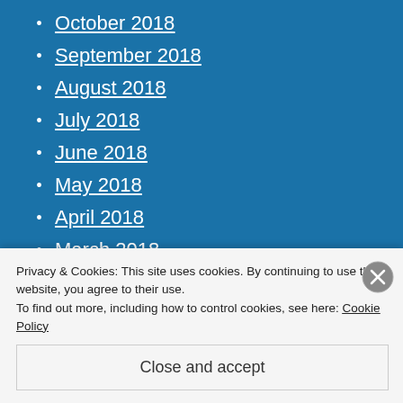October 2018
September 2018
August 2018
July 2018
June 2018
May 2018
April 2018
March 2018
February 2018
January 2018
December 2017
Privacy & Cookies: This site uses cookies. By continuing to use this website, you agree to their use.
To find out more, including how to control cookies, see here: Cookie Policy
Close and accept